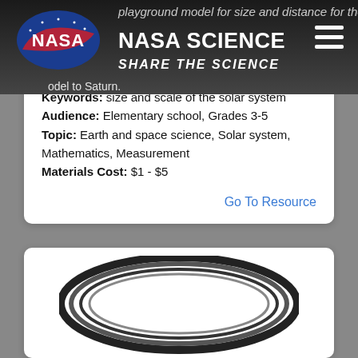NASA SCIENCE | SHARE THE SCIENCE
playground model for size and distance for the Earth and Saturn, then walk on their scale model to Saturn.
Keywords: size and scale of the solar system
Audience: Elementary school, Grades 3-5
Topic: Earth and space science, Solar system, Mathematics, Measurement
Materials Cost: $1 - $5
Go To Resource
[Figure (illustration): Illustration of Saturn with rings, partial view at bottom of page]